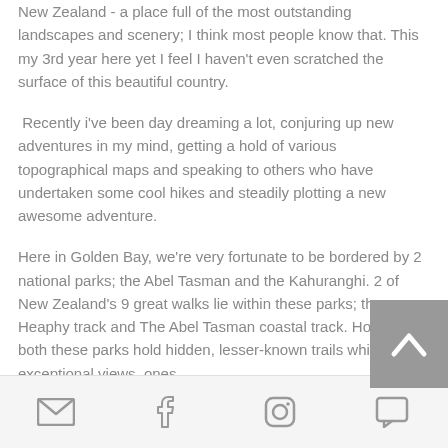New Zealand - a place full of the most outstanding landscapes and scenery; I think most people know that. This my 3rd year here yet I feel I haven't even scratched the surface of this beautiful country.
Recently i've been day dreaming a lot, conjuring up new adventures in my mind, getting a hold of various topographical maps and speaking to others who have undertaken some cool hikes and steadily plotting a new awesome adventure.
Here in Golden Bay, we're very fortunate to be bordered by 2 national parks; the Abel Tasman and the Kahuranghi. 2 of New Zealand's 9 great walks lie within these parks; the Heaphy track and The Abel Tasman coastal track. However, both these parks hold hidden, lesser-known trails which offer exceptional views, ones
[Figure (other): Scroll-to-top button (grey background with upward chevron/arrow icon)]
Email | Facebook | Instagram | Comment icons